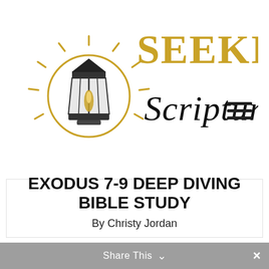[Figure (logo): Seeking Scripture logo: a lantern with rays like a sun in gold, with 'SEEKING' in large gold serif capitals and 'Scripture' in black cursive script below]
EXODUS 7-9 DEEP DIVING BIBLE STUDY
By Christy Jordan
Share This ∨  ×